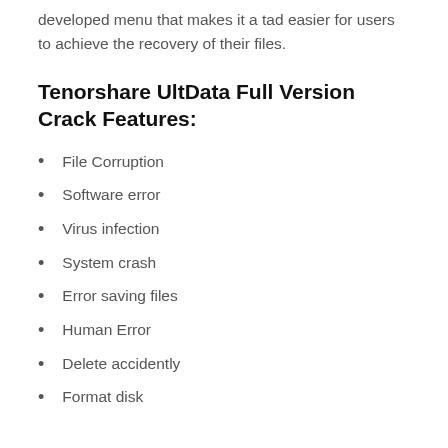developed menu that makes it a tad easier for users to achieve the recovery of their files.
Tenorshare UltData Full Version Crack Features:
File Corruption
Software error
Virus infection
System crash
Error saving files
Human Error
Delete accidently
Format disk